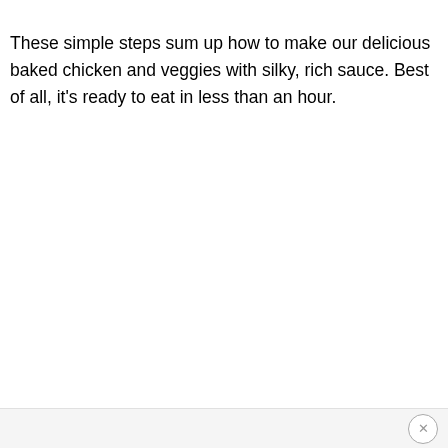These simple steps sum up how to make our delicious baked chicken and veggies with silky, rich sauce. Best of all, it's ready to eat in less than an hour.